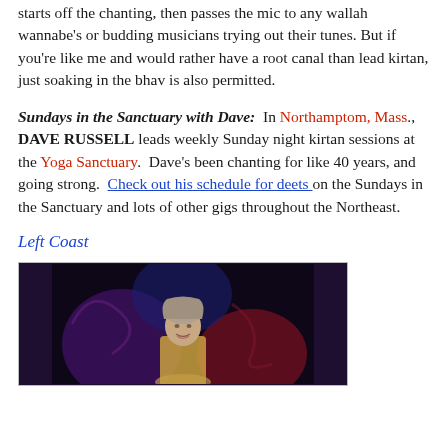starts off the chanting, then passes the mic to any wallah wannabe’s or budding musicians trying out their tunes. But if you’re like me and would rather have a root canal than lead kirtan, just soaking in the bhav is also permitted.
Sundays in the Sanctuary with Dave: In Northamptom, Mass., DAVE RUSSELL leads weekly Sunday night kirtan sessions at the Yoga Sanctuary. Dave’s been chanting for like 40 years, and going strong. Check out his schedule for deets on the Sundays in the Sanctuary and lots of other gigs throughout the Northeast.
Left Coast
[Figure (photo): A woman with grey hair smiling, standing in front of a colorful decorative background with blues, purples and reds.]